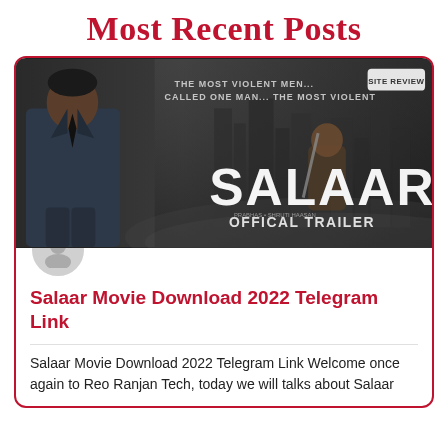Most Recent Posts
[Figure (photo): Movie promotional image for 'Salaar' showing an actor in a suit on the left and a warrior figure on the right, with text 'THE MOST VIOLENT MEN... CALLED ONE MAN... THE MOST VIOLENT', 'SALAAR', 'OFFICAL TRAILER', and a 'SITE REVIEW' badge in the top right corner.]
Salaar Movie Download 2022 Telegram Link
Salaar Movie Download 2022 Telegram Link Welcome once again to Reo Ranjan Tech, today we will talks about Salaar